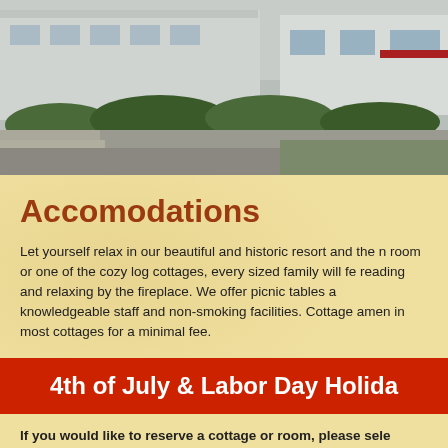[Figure (photo): Exterior photo of a historic resort building with white walls, green bushes/shrubs along the front, and a parking area or walkway in the foreground. Sky and additional structures visible in the background.]
Accomodations
Let yourself relax in our beautiful and historic resort and the n room or one of the cozy log cottages, every sized family will fe reading and relaxing by the fireplace. We offer picnic tables a knowledgeable staff and non-smoking facilities. Cottage amen in most cottages for a minimal fee.
4th of July & Labor Day Holida
If you would like to reserve a cottage or room, please sele